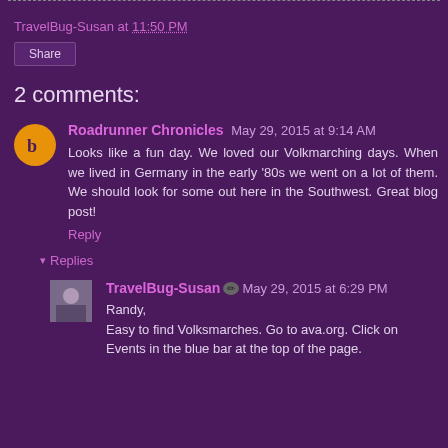TravelBug-Susan at 11:50 PM
Share
2 comments:
Roadrunner Chronicles  May 29, 2015 at 9:14 AM
Looks like a fun day. We loved our Volkmarching days. When we lived in Germany in the early '80s we went on a lot of them. We should look for some out here in the Southwest. Great blog post!
Reply
Replies
TravelBug-Susan  May 29, 2015 at 6:29 PM
Randy,
Easy to find Volksmarches. Go to ava.org. Click on Events in the blue bar at the top of the page.